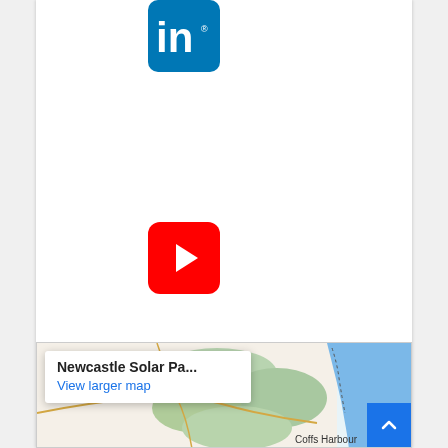[Figure (logo): LinkedIn logo icon — blue rounded square with white 'in' text]
[Figure (logo): YouTube logo icon — red rounded square with white play button]
[Figure (logo): Twitter logo icon — blue rounded square with white bird]
[Figure (map): Google Maps screenshot showing coastal area near Coffs Harbour with a popup reading 'Newcastle Solar Pa...' and 'View larger map' link]